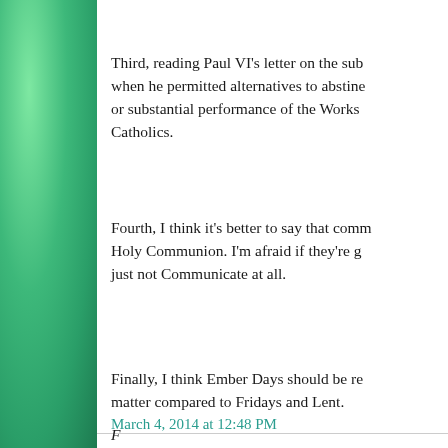Third, reading Paul VI's letter on the sub when he permitted alternatives to abstine or substantial performance of the Works Catholics.
Fourth, I think it's better to say that comm Holy Communion. I'm afraid if they're g just not Communicate at all.
Finally, I think Ember Days should be re matter compared to Fridays and Lent.
March 4, 2014 at 12:48 PM